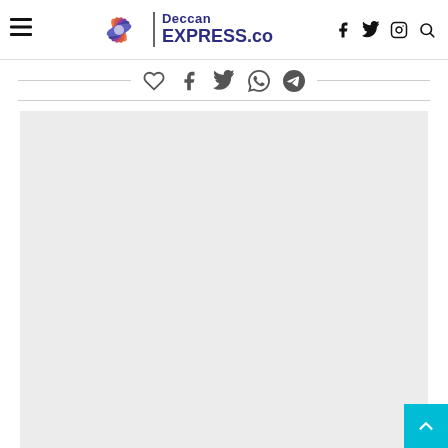Deccan EXPRESS.co
[Figure (screenshot): Social sharing icons: heart/like, Facebook, Twitter, WhatsApp, Telegram on a horizontal rule]
[Figure (other): Advertisement placeholder block (light gray rectangle)]